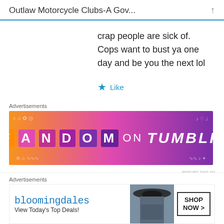Outlaw Motorcycle Clubs-A Gov...
crap people are sick of. Cops want to bust ya one day and be you the next lol
★ Like
Advertisements
[Figure (screenshot): Fandom on Tumblr advertisement banner with orange-to-purple gradient background]
REPORT THIS AD
Robert  FEBRUARY 11, 2016 AT 6:22 PM
Advertisements
[Figure (screenshot): Bloomingdale's advertisement banner - View Today's Top Deals! SHOP NOW >]